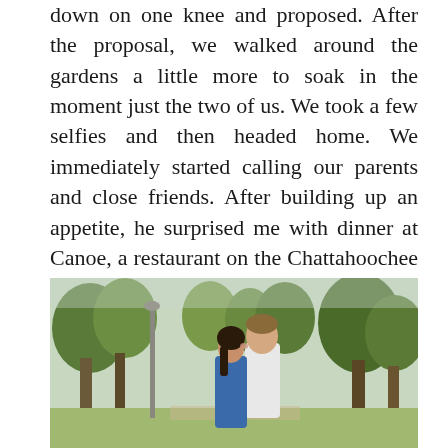down on one knee and proposed. After the proposal, we walked around the gardens a little more to soak in the moment just the two of us. We took a few selfies and then headed home. We immediately started calling our parents and close friends. After building up an appetite, he surprised me with dinner at Canoe, a restaurant on the Chattahoochee River. The meal was amazing. We finished dinner with drinks out by the river. To top the night off, he had our two really close couple friends meet us at a wine bar for champagne and late night snacks! That day was the perfect amount of alone time and celebration with close friends.
[Figure (photo): A couple embracing and kissing in a park-like outdoor setting with trees in the background. The woman has dark hair and is wearing a blue dress; the man is wearing a white shirt. The scene appears to be an engagement photo taken in autumn light.]